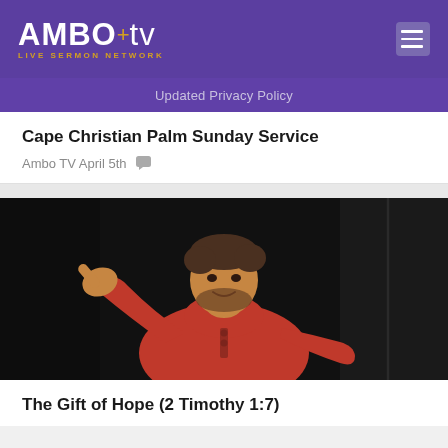AMBO+tv LIVE SERMON NETWORK
Updated Privacy Policy
Cape Christian Palm Sunday Service
Ambo TV April 5th
[Figure (photo): A man in a red hoodie pointing with his right hand, smiling, against a dark background on a stage]
The Gift of Hope (2 Timothy 1:7)